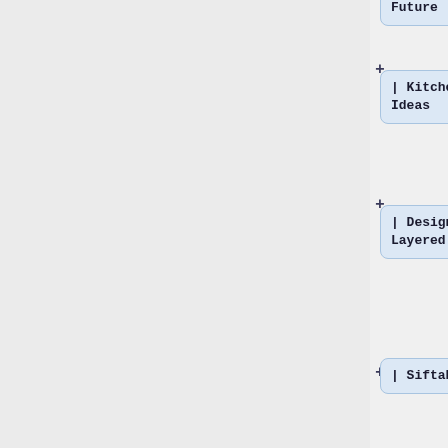| Future
| Kitchen Nutrition - Mixing Ideas
| Design farm technology - Layered Elaboration
| Siftables
| Field Trip - C and O Canal?
|-
|PM adults
|ML Beth B Emily